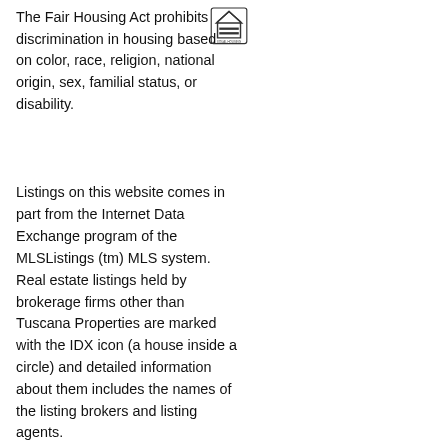The Fair Housing Act prohibits discrimination in housing based on color, race, religion, national origin, sex, familial status, or disability.
[Figure (logo): Equal Housing Opportunity logo — a house inside an equals sign circle]
Listings on this website comes in part from the Internet Data Exchange program of the MLSListings (tm) MLS system. Real estate listings held by brokerage firms other than Tuscana Properties are marked with the IDX icon (a house inside a circle) and detailed information about them includes the names of the listing brokers and listing agents.
[Figure (logo): MLS Source logo — circular teal badge with house icon and 'MLS SOURCE' text, inside a dark red square border]
Copyright © 2022 MLSListings Inc. All rights reserved.
Information Deemed Reliable But Not Guaranteed. The information being provided is for consumer's personal, non-commercial use and may not be used for any purpose other than
home   browse   search   news   about us   contact us